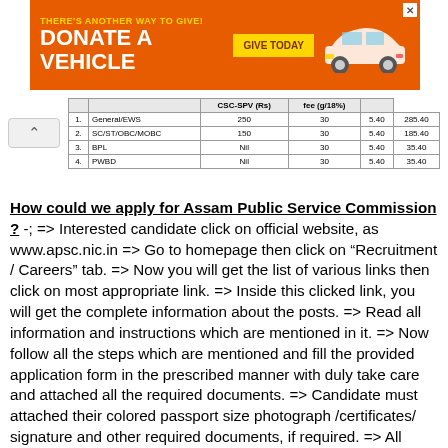[Figure (other): Orange advertisement banner: 'THERE'S ANOTHER WAY TO GIVE! DONATE A VEHICLE' with a car image and 'GIVE TODAY' button]
|  |  | CSC-SPV (Rs) | fee (g/18%) |  |
| --- | --- | --- | --- | --- |
| 1. | General/EWS | 250 | 30 | 5.40 | 285.40 |
| 2. | SC/ST/OBC/MOBC | 150 | 30 | 5.40 | 185.40 |
| 3. | BPL | Nil | 30 | 5.40 | 35.40 |
| 4. | PWBD | Nil | 30 | 5.40 | 35.40 |
How could we apply for Assam Public Service Commission ? -; => Interested candidate click on official website, as www.apsc.nic.in => Go to homepage then click on "Recruitment / Careers" tab. => Now you will get the list of various links then click on most appropriate link. => Inside this clicked link, you will get the complete information about the posts. => Read all information and instructions which are mentioned in it. => Now follow all the steps which are mentioned and fill the provided application form in the prescribed manner with duly take care and attached all the required documents. => Candidate must attached their colored passport size photograph /certificates/ signature and other required documents, if required. => All documents and certificates should be intelligible. => on the